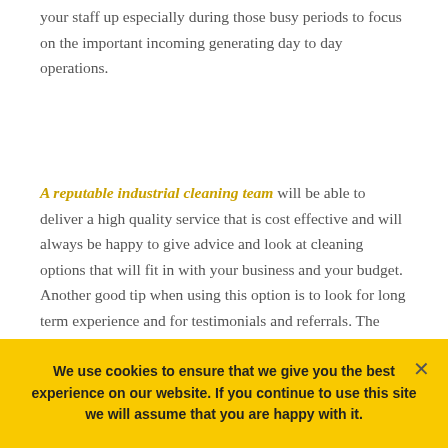your staff up especially during those busy periods to focus on the important incoming generating day to day operations.
A reputable industrial cleaning team will be able to deliver a high quality service that is cost effective and will always be happy to give advice and look at cleaning options that will fit in with your business and your budget. Another good tip when using this option is to look for long term experience and for testimonials and referrals. The proof of the pudding is very much in the
We use cookies to ensure that we give you the best experience on our website. If you continue to use this site we will assume that you are happy with it.